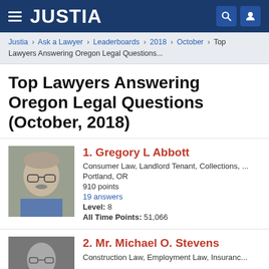JUSTIA
Justia › Ask a Lawyer › Leaderboards › 2018 › October › Top Lawyers Answering Oregon Legal Questions...
Top Lawyers Answering Oregon Legal Questions (October, 2018)
1. Gregory L Abbott
Consumer Law, Landlord Tenant, Collections, ...
Portland, OR
910 points
19 answers
Level: 8
All Time Points: 51,066
2. Mr. Michael O. Stevens
Construction Law, Employment Law, Insuranc...